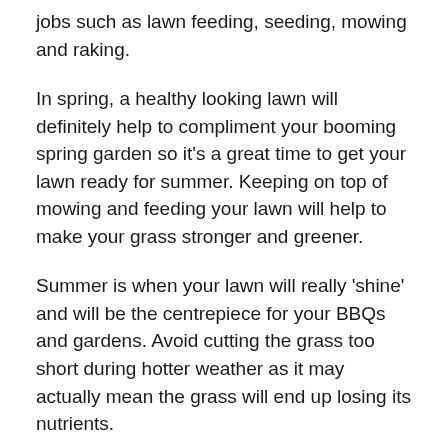jobs such as lawn feeding, seeding, mowing and raking.
In spring, a healthy looking lawn will definitely help to compliment your booming spring garden so it's a great time to get your lawn ready for summer. Keeping on top of mowing and feeding your lawn will help to make your grass stronger and greener.
Summer is when your lawn will really 'shine' and will be the centrepiece for your BBQs and gardens. Avoid cutting the grass too short during hotter weather as it may actually mean the grass will end up losing its nutrients.